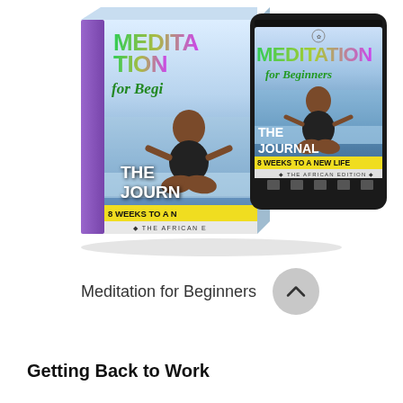[Figure (illustration): Product mockup showing a physical book box and a tablet/e-reader both displaying the cover of 'Meditation for Beginners: The Journal, 8 Weeks to a New Life – The African Edition' with colorful title text and an image of a woman meditating on a beach.]
Meditation for Beginners
Getting Back to Work